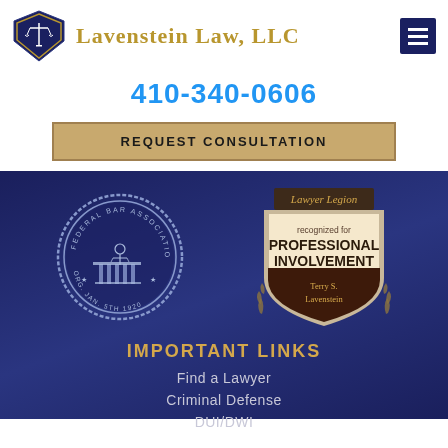[Figure (logo): Lavenstein Law LLC logo with scales of justice shield and firm name]
410-340-0606
REQUEST CONSULTATION
[Figure (illustration): Federal Bar Association seal/medallion (left) and Lawyer Legion recognized for Professional Involvement badge for Terry S. Lavenstein (right), displayed on dark navy background]
IMPORTANT LINKS
Find a Lawyer
Criminal Defense
DUI/DWI